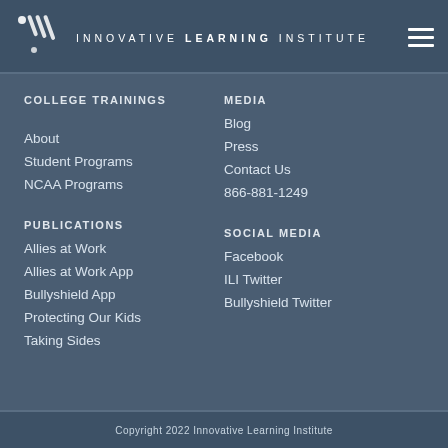INNOVATIVE LEARNING INSTITUTE
COLLEGE TRAININGS
About
Student Programs
NCAA Programs
MEDIA
Blog
Press
Contact Us
866-881-1249
PUBLICATIONS
Allies at Work
Allies at Work App
Bullyshield App
Protecting Our Kids
Taking Sides
SOCIAL MEDIA
Facebook
ILI Twitter
Bullyshield Twitter
Copyright 2022 Innovative Learning Institute